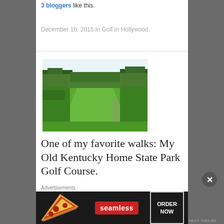3 bloggers like this.
December 16, 2015 in Golf in Hollywood.
[Figure (photo): A lush green golf course fairway lined with trees on both sides under a partly cloudy sky.]
One of my favorite walks: My Old Kentucky Home State Park Golf Course.
Advertisements
[Figure (infographic): Seamless food delivery advertisement banner with pizza image on left, Seamless logo in red center, and ORDER NOW button on right.]